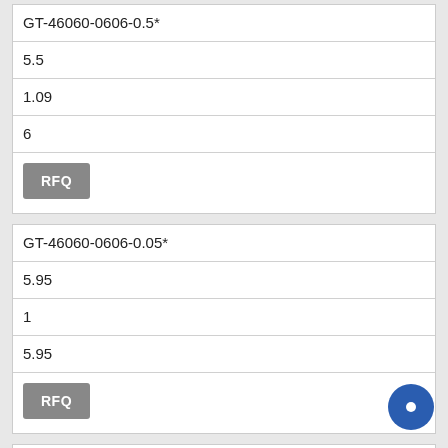| GT-46060-0606-0.5* |
| 5.5 |
| 1.09 |
| 6 |
| RFQ |
| GT-46060-0606-0.05* |
| 5.95 |
| 1 |
| 5.95 |
| RFQ |
| GT-46060-0609-2.5* |
| 6.5 |
| 0.92 |
| 5.98 |